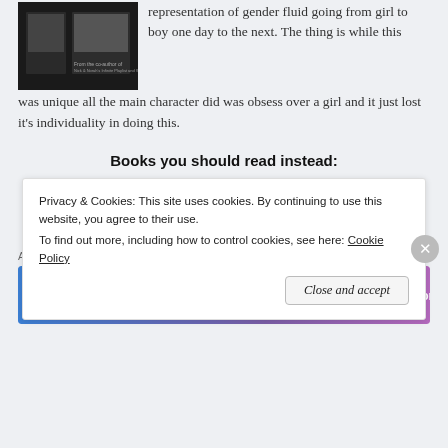[Figure (photo): Book cover image, dark/black background with two small book covers visible]
representation of gender fluid going from girl to boy one day to the next. The thing is while this was unique all the main character did was obsess over a girl and it just lost it's individuality in doing this.
Books you should read instead:
Ancillary Justice for non binery characters
Magnus Chase and the gods of Asgard for gender fluid
Advertisements
[Figure (screenshot): WordPress.com advertisement banner: 'Simplified pricing for everything you need.' with WordPress.com logo on blue-to-purple gradient background]
Privacy & Cookies: This site uses cookies. By continuing to use this website, you agree to their use.
To find out more, including how to control cookies, see here: Cookie Policy